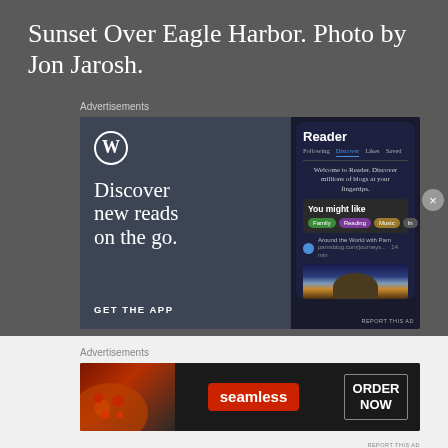Sunset Over Eagle Harbor. Photo by Jon Jarosh.
Advertisements
[Figure (screenshot): WordPress app advertisement showing 'Discover new reads on the go.' with phone mockup displaying Reader interface with Discover tab, 'You might like' section with Family, Reading, Music tags, and 'Around the World with Pam' blog entry. GET THE APP call to action at bottom left.]
Advertisements
[Figure (screenshot): Seamless food delivery advertisement showing pizza image on left, Seamless logo in red badge center, and ORDER NOW button on right.]